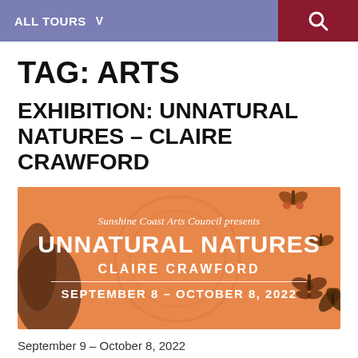ALL TOURS  V
TAG: ARTS
EXHIBITION: UNNATURAL NATURES – CLAIRE CRAWFORD
[Figure (illustration): Exhibition poster for 'Unnatural Natures' by Claire Crawford, presented by Sunshine Coast Arts Council. Orange background with moth/insect illustrations. Text reads: Sunshine Coast Arts Council presents / UNNATURAL NATURES / CLAIRE CRAWFORD / SEPTEMBER 8 – OCTOBER 8, 2022]
September 9 – October 8, 2022